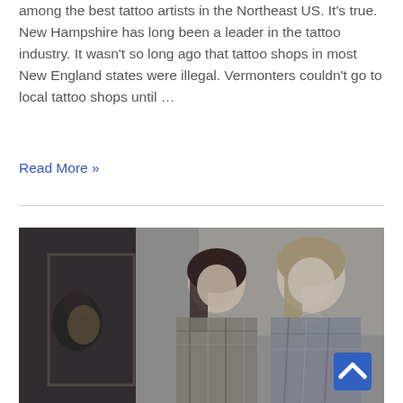among the best tattoo artists in the Northeast US. It's true. New Hampshire has long been a leader in the tattoo industry. It wasn't so long ago that tattoo shops in most New England states were illegal. Vermonters couldn't go to local tattoo shops until …
Read More »
[Figure (photo): Black and white photo of two young women looking at something off-camera, with a third figure partially visible through a window or mirror on the left side of the image. The women appear to be in an indoor setting with patterned wallpaper.]